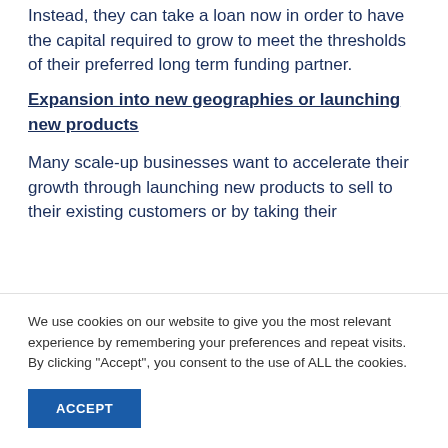Instead, they can take a loan now in order to have the capital required to grow to meet the thresholds of their preferred long term funding partner.
Expansion into new geographies or launching new products
Many scale-up businesses want to accelerate their growth through launching new products to sell to their existing customers or by taking their
We use cookies on our website to give you the most relevant experience by remembering your preferences and repeat visits. By clicking “Accept”, you consent to the use of ALL the cookies.